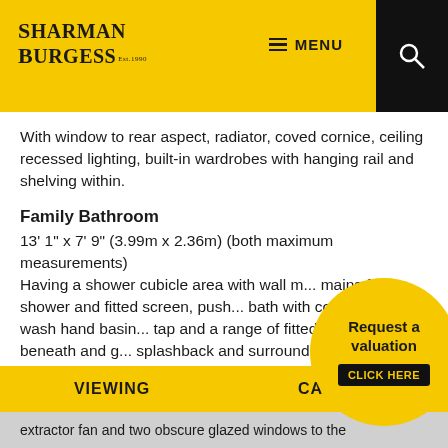SHARMAN BURGESS Est.1990 | MENU
With window to rear aspect, radiator, coved cornice, ceiling recessed lighting, built-in wardrobes with hanging rail and shelving within.
Family Bathroom
13' 1" x 7' 9" (3.99m x 2.36m) (both maximum measurements)
Having a shower cubicle area with wall m... mains fed shower and fitted screen, push... bath with concealed tap, wash hand basin... tap and a range of fitted storage beneath and g... splashback and surround. Wall mounted heated towel
[Figure (other): Request a valuation - CLICK HERE yellow circle button]
extractor fan and two obscure glazed windows to the